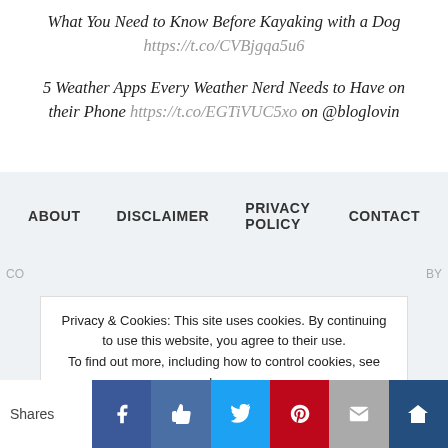What You Need to Know Before Kayaking with a Dog https://t.co/CVBjgqa5u6
5 Weather Apps Every Weather Nerd Needs to Have on their Phone https://t.co/EGTiVUC5xo on @bloglovin
ABOUT   DISCLAIMER   PRIVACY POLICY   CONTACT
Privacy & Cookies: This site uses cookies. By continuing to use this website, you agree to their use. To find out more, including how to control cookies, see here: Cookie Policy
Shares